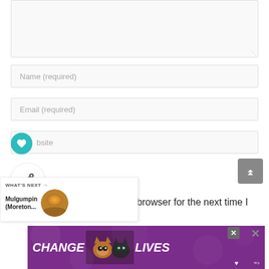[Figure (screenshot): Textarea form field (comment box), partially visible at top of page, light gray background with resize handle at bottom right]
Name (required)
Email (required)
[Figure (screenshot): Website input field with teal heart icon overlapping left edge, and share icon button below]
Save my name, email, and website in this browser for the next time I comment.
[Figure (screenshot): What's Next panel showing thumbnail and title 'Mulgumpin (Moreton...' with arrow indicator]
[Figure (screenshot): Advertisement banner: CHANGE LIVES with cat photos on purple background with close button]